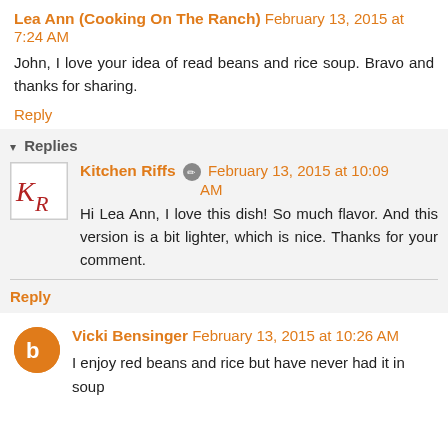Lea Ann (Cooking On The Ranch) February 13, 2015 at 7:24 AM
John, I love your idea of read beans and rice soup. Bravo and thanks for sharing.
Reply
Replies
Kitchen Riffs February 13, 2015 at 10:09 AM
Hi Lea Ann, I love this dish! So much flavor. And this version is a bit lighter, which is nice. Thanks for your comment.
Reply
Vicki Bensinger February 13, 2015 at 10:26 AM
I enjoy red beans and rice but have never had it in soup